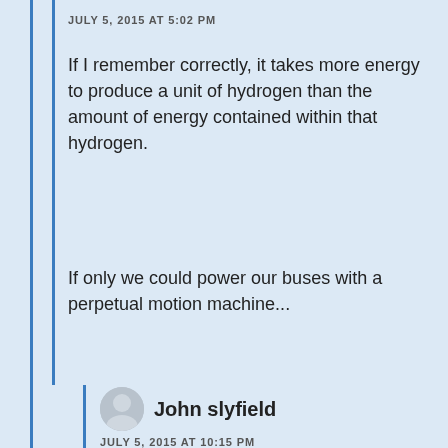JULY 5, 2015 AT 5:02 PM
If I remember correctly, it takes more energy to produce a unit of hydrogen than the amount of energy contained within that hydrogen.
If only we could power our buses with a perpetual motion machine...
John slyfield
JULY 5, 2015 AT 10:15 PM
http://cleantechnica.com/2014/08/11/electric-buses-overall-best-co2-health-